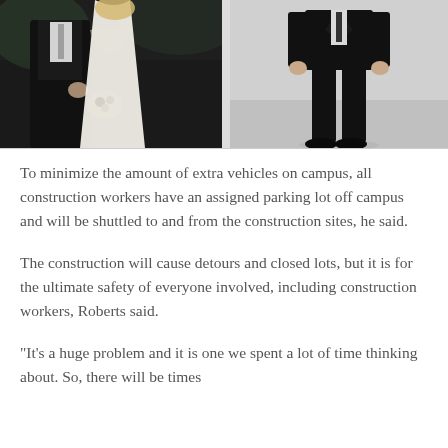[Figure (photo): Two photos side by side: left photo shows a couple at a wedding, the groom in a dark tuxedo and the bride in a white lace dress holding flowers; right photo shows a man in a full black suit standing against a grey background.]
To minimize the amount of extra vehicles on campus, all construction workers have an assigned parking lot off campus and will be shuttled to and from the construction sites, he said.
The construction will cause detours and closed lots, but it is for the ultimate safety of everyone involved, including construction workers, Roberts said.
"It's a huge problem and it is one we spent a lot of time thinking about. So, there will be times